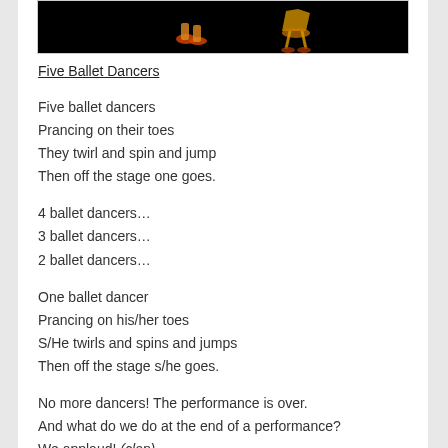[Figure (photo): Black background image showing ballet dancer feet/legs in costume]
Five Ballet Dancers
Five ballet dancers
Prancing on their toes
They twirl and spin and jump
Then off the stage one goes.
4 ballet dancers…
3 ballet dancers…
2 ballet dancers…
One ballet dancer
Prancing on his/her toes
S/He twirls and spins and jumps
Then off the stage s/he goes.
No more dancers!  The performance is over.
And what do we do at the end of a performance?
We applaud!  (clap)